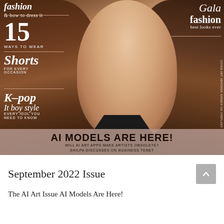[Figure (photo): Magazine cover featuring a woman with long brown hair wearing a black top, with fashion headline overlays including '15 Ways to Wear Shorts', 'Gala fashion best looks ever', 'K-pop It boy style Every idol you need to know', and 'AI MODELS ARE HERE!' banner at bottom.]
September 2022 Issue
The AI Art Issue AI Models Are Here!